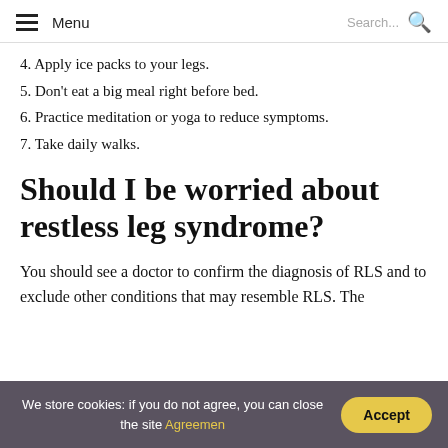Menu | Search...
4. Apply ice packs to your legs.
5. Don't eat a big meal right before bed.
6. Practice meditation or yoga to reduce symptoms.
7. Take daily walks.
Should I be worried about restless leg syndrome?
You should see a doctor to confirm the diagnosis of RLS and to exclude other conditions that may resemble RLS. The
We store cookies: if you do not agree, you can close the site Agreemen